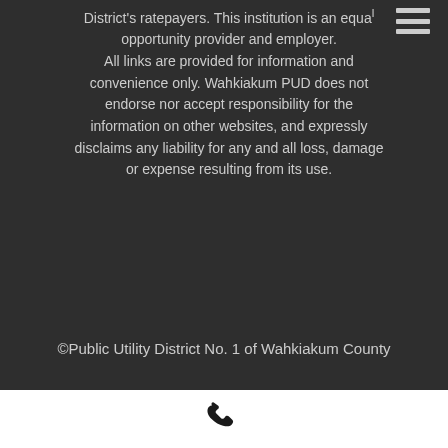District's ratepayers. This institution is an equal opportunity provider and employer. All links are provided for information and convenience only. Wahkiakum PUD does not endorse nor accept responsibility for the information on other websites, and expressly disclaims any liability for any and all loss, damage or expense resulting from its use.
©Public Utility District No. 1 of Wahkiakum County
[Figure (illustration): Phone/telephone icon in black]